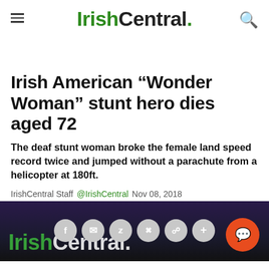IrishCentral.
Irish American “Wonder Woman” stunt hero dies aged 72
The deaf stunt woman broke the female land speed record twice and jumped without a parachute from a helicopter at 180ft.
IrishCentral Staff @IrishCentral Nov 08, 2018
[Figure (screenshot): Bottom strip showing IrishCentral logo overlay on dark purple/black background, social sharing buttons (f, email, twitter, pinterest, whatsapp, plus), and an orange chat button.]